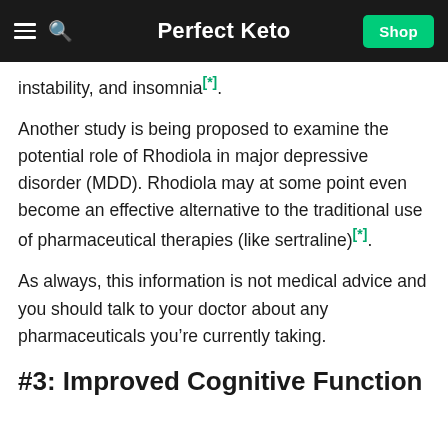Perfect Keto
instability, and insomnia[*].
Another study is being proposed to examine the potential role of Rhodiola in major depressive disorder (MDD). Rhodiola may at some point even become an effective alternative to the traditional use of pharmaceutical therapies (like sertraline)[*].
As always, this information is not medical advice and you should talk to your doctor about any pharmaceuticals you’re currently taking.
#3: Improved Cognitive Function